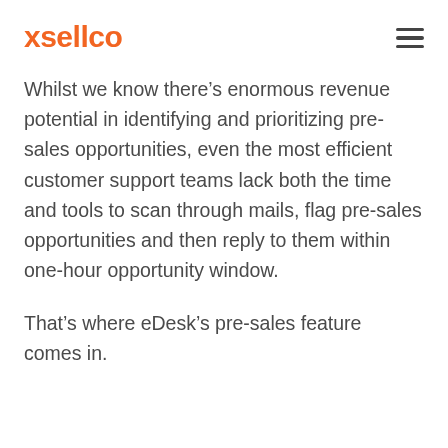xsellco
Whilst we know there’s enormous revenue potential in identifying and prioritizing pre-sales opportunities, even the most efficient customer support teams lack both the time and tools to scan through mails, flag pre-sales opportunities and then reply to them within one-hour opportunity window.
That’s where eDesk’s pre-sales feature comes in.